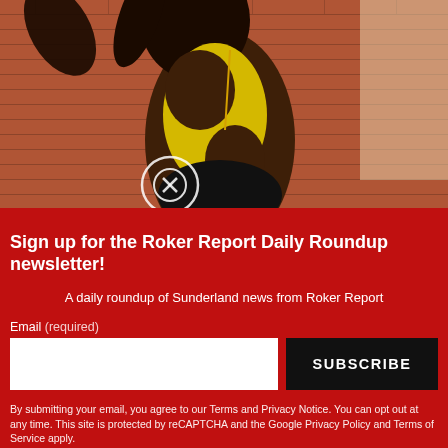[Figure (photo): A person wearing a brown and yellow bodysuit posing against a brick wall background, with a circular logo visible at the bottom of the image]
close ×
Sign up for the Roker Report Daily Roundup newsletter!
A daily roundup of Sunderland news from Roker Report
Email (required)
SUBSCRIBE
By submitting your email, you agree to our Terms and Privacy Notice. You can opt out at any time. This site is protected by reCAPTCHA and the Google Privacy Policy and Terms of Service apply.